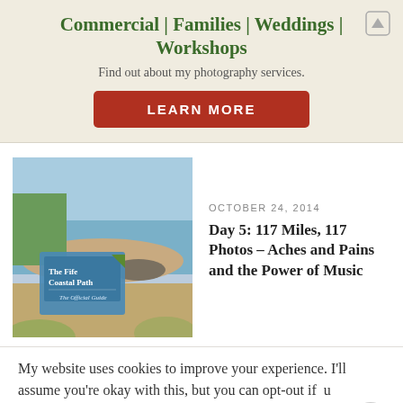Commercial | Families | Weddings | Workshops
Find out about my photography services.
LEARN MORE
[Figure (photo): Coastal landscape photo showing seaside cliffs, sandy beach, ocean, and greenery, with a book 'The Fife Coastal Path – The Official Guide' in the foreground]
OCTOBER 24, 2014
Day 5: 117 Miles, 117 Photos – Aches and Pains and the Power of Music
My website uses cookies to improve your experience. I'll assume you're okay with this, but you can opt-out if you wish.
Cookie settings
ACCEPT